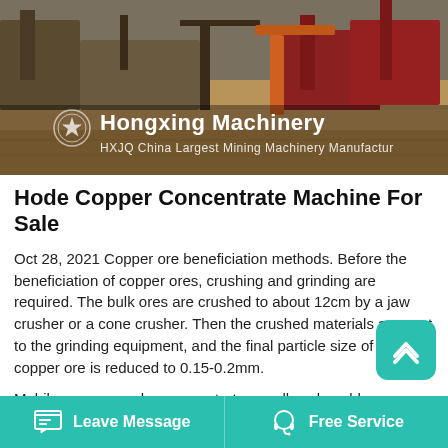[Figure (photo): Industrial mining machinery site photo with Hongxing Machinery branding overlay. Shows heavy equipment on a dirt/gravel site. Logo reads 'Hongxing Machinery HXJQ China Largest Mining Machinery Manufacturer'.]
Hode Copper Concentrate Machine For Sale
Oct 28, 2021 Copper ore beneficiation methods. Before the beneficiation of copper ores, crushing and grinding are required. The bulk ores are crushed to about 12cm by a jaw crusher or a cone crusher. Then the crushed materials are sent to the grinding equipment, and the final particle size of the copper ore is reduced to 0.15-0.2mm.
Mobile copper crusher concentrator small scale gold concentrator from zenith 1.Short Introduction of Small Scale Gold Refining Machine Equipment
Leave Message   Free Service